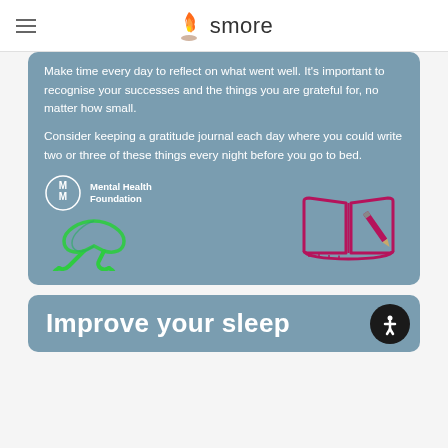smore
Make time every day to reflect on what went well. It's important to recognise your successes and the things you are grateful for, no matter how small.
Consider keeping a gratitude journal each day where you could write two or three of these things every night before you go to bed.
[Figure (logo): Mental Health Foundation logo with green awareness ribbon]
[Figure (illustration): Open book with pen illustration in dark pink/crimson color]
Improve your sleep